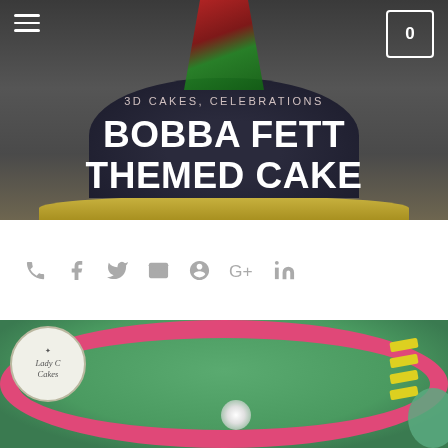[Figure (photo): Top hero image showing a Boba Fett themed cake close-up, dark background with cake details visible]
☰  [menu icon]   [cart: 0]
3D CAKES, CELEBRATIONS
BOBBA FETT THEMED CAKE
[Figure (infographic): Social sharing icons row: phone, facebook, twitter, email, pinterest, google+, linkedin]
[Figure (photo): Bottom image showing the base tier of the Boba Fett themed cake with green fondant, Lady C Cakes logo, pink border, and yellow decorations]